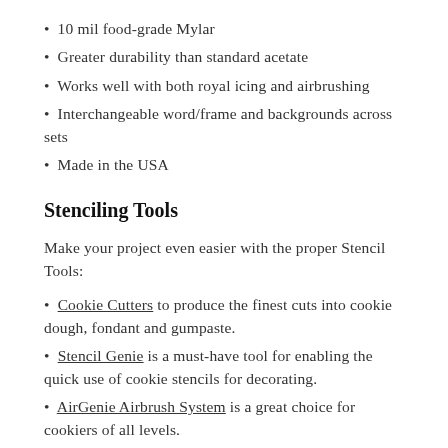10 mil food-grade Mylar
Greater durability than standard acetate
Works well with both royal icing and airbrushing
Interchangeable word/frame and backgrounds across sets
Made in the USA
Stenciling Tools
Make your project even easier with the proper Stencil Tools:
Cookie Cutters to produce the finest cuts into cookie dough, fondant and gumpaste.
Stencil Genie is a must-have tool for enabling the quick use of cookie stencils for decorating.
AirGenie Airbrush System is a great choice for cookiers of all levels.